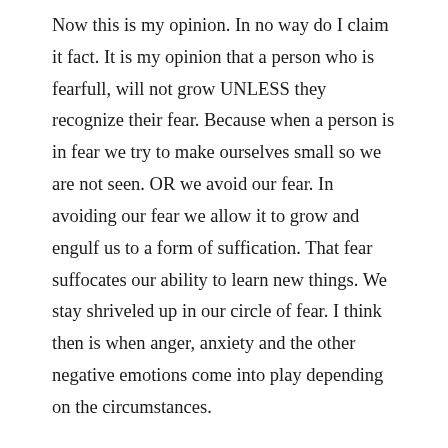Now this is my opinion. In no way do I claim it fact. It is my opinion that a person who is fearfull, will not grow UNLESS they recognize their fear. Because when a person is in fear we try to make ourselves small so we are not seen. OR we avoid our fear. In avoiding our fear we allow it to grow and engulf us to a form of suffication. That fear suffocates our ability to learn new things. We stay shriveled up in our circle of fear. I think then is when anger, anxiety and the other negative emotions come into play depending on the circumstances.
I was raised by a parent who had the shield of fear, and a parent that had the shield of love. I don’t know if some how that gave me a balance of the two emotions are not. But my mom always says “you ain’t scared of